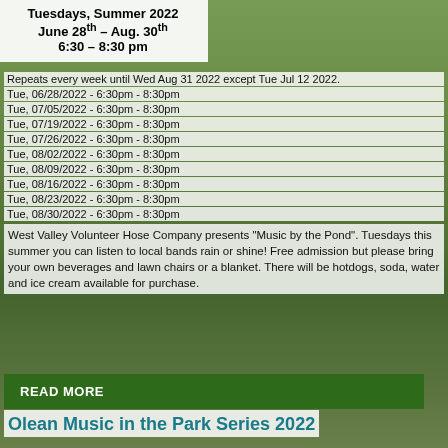Tuesdays, Summer 2022
June 28th – Aug. 30th
6:30 – 8:30 pm
Repeats every week until Wed Aug 31 2022 except Tue Jul 12 2022.
Tue, 06/28/2022 - 6:30pm - 8:30pm
Tue, 07/05/2022 - 6:30pm - 8:30pm
Tue, 07/19/2022 - 6:30pm - 8:30pm
Tue, 07/26/2022 - 6:30pm - 8:30pm
Tue, 08/02/2022 - 6:30pm - 8:30pm
Tue, 08/09/2022 - 6:30pm - 8:30pm
Tue, 08/16/2022 - 6:30pm - 8:30pm
Tue, 08/23/2022 - 6:30pm - 8:30pm
Tue, 08/30/2022 - 6:30pm - 8:30pm
West Valley Volunteer Hose Company presents "Music by the Pond". Tuesdays this summer you can listen to local bands rain or shine!  Free admission but please bring your own beverages and lawn chairs or a blanket. There will be hotdogs, soda, water and ice cream available for purchase.
READ MORE
Olean Music in the Park Series 2022